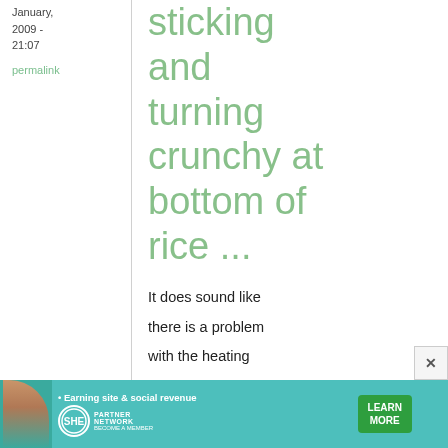January, 2009 - 21:07
permalink
sticking and turning crunchy at bottom of rice ...
It does sound like there is a problem with the heating element. I have seen the crunchy-
[Figure (infographic): Advertisement banner for SHE Partner Network with woman photo, bullet point 'Earning site & social revenue', SHE logo, and LEARN MORE button.]